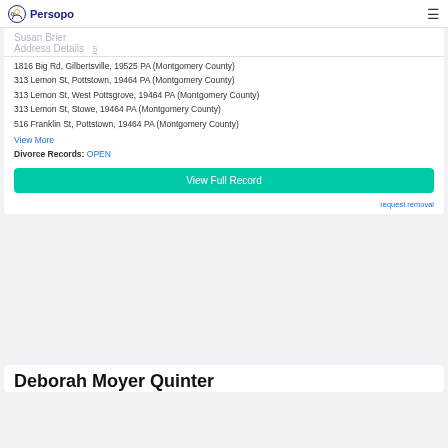Persopo
Address Details
1816 Big Rd, Gilbertsville, 19525 PA (Montgomery County)
313 Lemon St, Pottstown, 19464 PA (Montgomery County)
313 Lemon St, West Pottsgrove, 19464 PA (Montgomery County)
313 Lemon St, Stowe, 19464 PA (Montgomery County)
516 Franklin St, Pottstown, 19464 PA (Montgomery County)
View More
Divorce Records: OPEN
View Full Record
request removal
Deborah Moyer Quinter